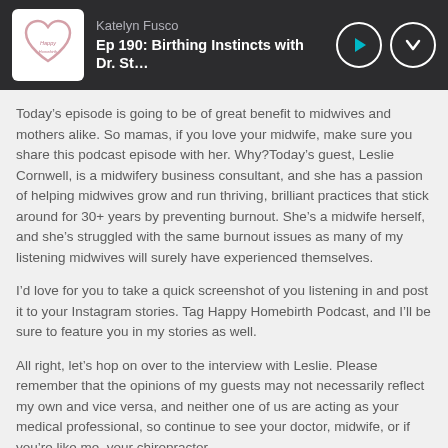Katelyn Fusco
Ep 190: Birthing Instincts with Dr. St…
Today’s episode is going to be of great benefit to midwives and mothers alike. So mamas, if you love your midwife, make sure you share this podcast episode with her. Why?Today’s guest, Leslie Cornwell, is a midwifery business consultant, and she has a passion of helping midwives grow and run thriving, brilliant practices that stick around for 30+ years by preventing burnout. She’s a midwife herself, and she’s struggled with the same burnout issues as many of my listening midwives will surely have experienced themselves.
I’d love for you to take a quick screenshot of you listening in and post it to your Instagram stories. Tag Happy Homebirth Podcast, and I’ll be sure to feature you in my stories as well.
All right, let’s hop on over to the interview with Leslie. Please remember that the opinions of my guests may not necessarily reflect my own and vice versa, and neither one of us are acting as your medical professional, so continue to see your doctor, midwife, or if you’re like me, your chiropractor.